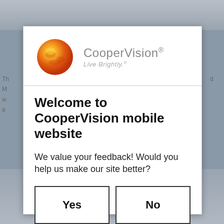[Figure (screenshot): Background page with blurred/partially visible content behind the modal dialog]
[Figure (logo): CooperVision logo with orange/red globe sphere and text 'CooperVision® Live Brightly.®']
Welcome to CooperVision mobile website
We value your feedback! Would you help us make our site better?
Yes
No